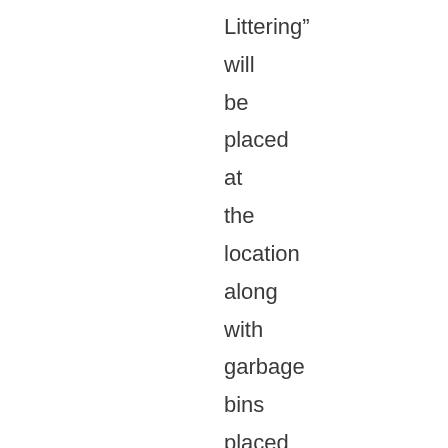Littering” will be placed at the location along with garbage bins placed by the department of VROMI.